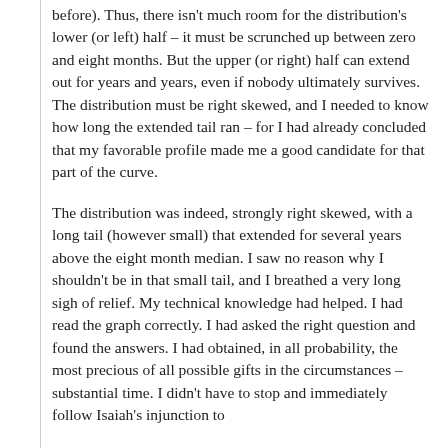before). Thus, there isn't much room for the distribution's lower (or left) half – it must be scrunched up between zero and eight months. But the upper (or right) half can extend out for years and years, even if nobody ultimately survives. The distribution must be right skewed, and I needed to know how long the extended tail ran – for I had already concluded that my favorable profile made me a good candidate for that part of the curve.
The distribution was indeed, strongly right skewed, with a long tail (however small) that extended for several years above the eight month median. I saw no reason why I shouldn't be in that small tail, and I breathed a very long sigh of relief. My technical knowledge had helped. I had read the graph correctly. I had asked the right question and found the answers. I had obtained, in all probability, the most precious of all possible gifts in the circumstances – substantial time. I didn't have to stop and immediately follow Isaiah's injunction to